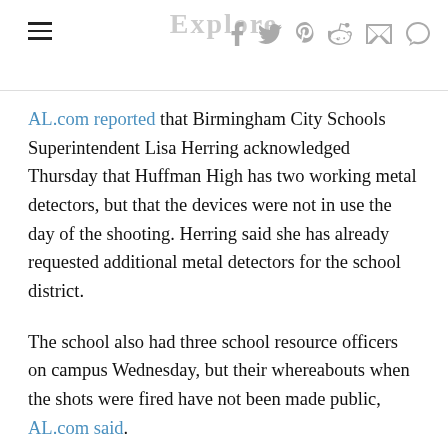Explore | social icons
AL.com reported that Birmingham City Schools Superintendent Lisa Herring acknowledged Thursday that Huffman High has two working metal detectors, but that the devices were not in use the day of the shooting. Herring said she has already requested additional metal detectors for the school district.
The school also had three school resource officers on campus Wednesday, but their whereabouts when the shots were fired have not been made public, AL.com said.
Police investigators initially believed the shooting to possibly have been accidental since Barber was